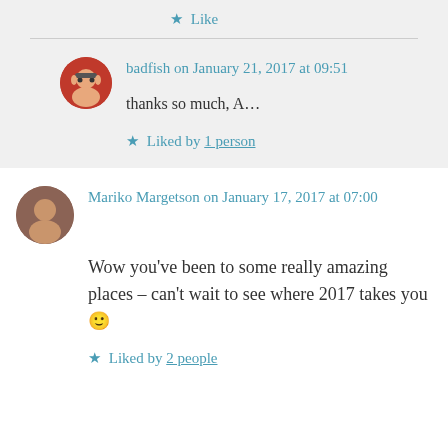★ Like
badfish on January 21, 2017 at 09:51
thanks so much, A…
★ Liked by 1 person
Mariko Margetson on January 17, 2017 at 07:00
Wow you've been to some really amazing places – can't wait to see where 2017 takes you 🙂
★ Liked by 2 people